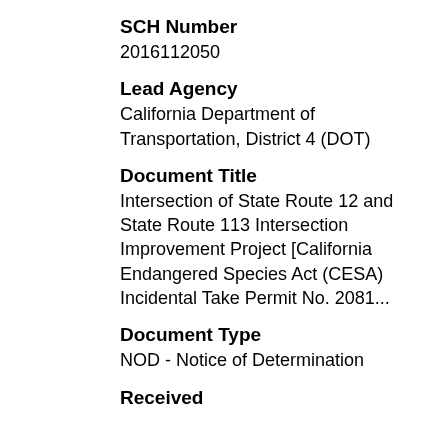SCH Number
2016112050
Lead Agency
California Department of Transportation, District 4 (DOT)
Document Title
Intersection of State Route 12 and State Route 113 Intersection Improvement Project [California Endangered Species Act (CESA) Incidental Take Permit No. 2081...
Document Type
NOD - Notice of Determination
Received